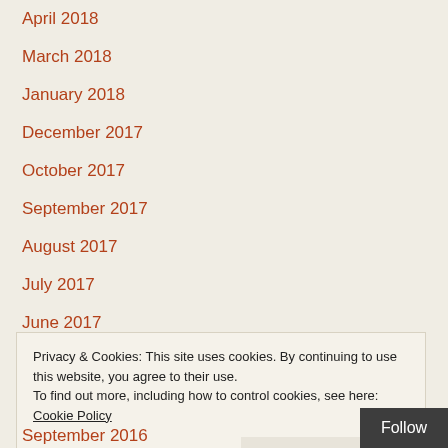April 2018
March 2018
January 2018
December 2017
October 2017
September 2017
August 2017
July 2017
June 2017
May 2017
Privacy & Cookies: This site uses cookies. By continuing to use this website, you agree to their use. To find out more, including how to control cookies, see here: Cookie Policy
Close and accept
Follow
September 2016